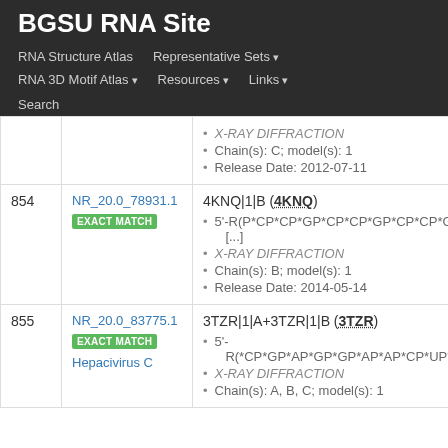BGSU RNA Site
RNA Structure Atlas | Representative Sets | RNA 3D Motif Atlas | Resources | Links | Search
| # | ID | Details |
| --- | --- | --- |
|  |  | X-RAY DIFFRACTION
Chain(s): C; model(s): 1
Release Date: 2012-07-11 |
| 854 | NR_20.0_78931.1 [EXACT MATCH] | 4KNQ|1|B (4KNQ)
5'-R(P*CP*CP*GP*CP*CP*GP*CP*CP*G [...]
X-RAY DIFFRACTION
Chain(s): B; model(s): 1
Release Date: 2014-05-14 |
| 855 | NR_20.0_83775.1 [EXACT MATCH] Hepacivirus C | 3TZR|1|A+3TZR|1|B (3TZR)
5'-R(*CP*GP*AP*GP*GP*AP*AP*CP*UP*A
X-RAY DIFFRACTION
Chain(s): A, B, C; model(s): 1 |